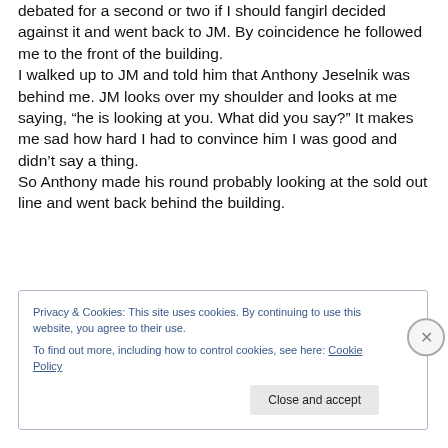Anthony Jeselnik was standing right in front of me. I debated for a second or two if I should fangirl decided against it and went back to JM. By coincidence he followed me to the front of the building. I walked up to JM and told him that Anthony Jeselnik was behind me. JM looks over my shoulder and looks at me saying, “he is looking at you. What did you say?” It makes me sad how hard I had to convince him I was good and didn’t say a thing. So Anthony made his round probably looking at the sold out line and went back behind the building.
Privacy & Cookies: This site uses cookies. By continuing to use this website, you agree to their use. To find out more, including how to control cookies, see here: Cookie Policy